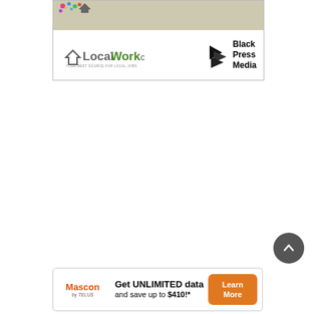[Figure (screenshot): LocalWork.ca and Black Press Media advertisement banner with map background at top and logos below]
[Figure (logo): Mascon by TELUS / Get UNLIMITED data and save up to $410!* advertisement with Learn More button]